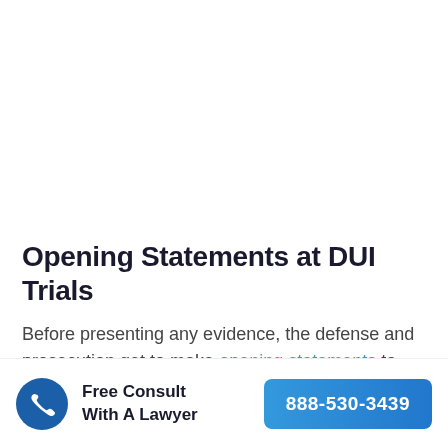Opening Statements at DUI Trials
Before presenting any evidence, the defense and prosecution get to make opening statements to the
[Figure (infographic): Call-to-action bar with phone icon, 'Free Consult With A Lawyer' text, and a blue button showing phone number 888-530-3439]